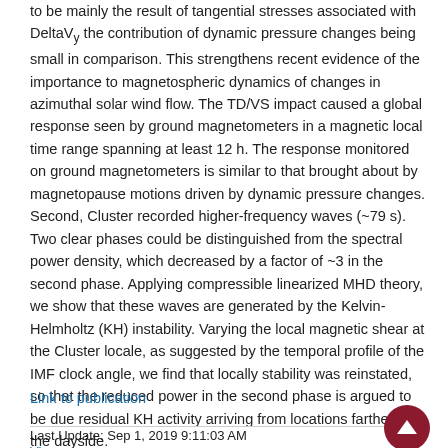to be mainly the result of tangential stresses associated with DeltaVy the contribution of dynamic pressure changes being small in comparison. This strengthens recent evidence of the importance to magnetospheric dynamics of changes in azimuthal solar wind flow. The TD/VS impact caused a global response seen by ground magnetometers in a magnetic local time range spanning at least 12 h. The response monitored on ground magnetometers is similar to that brought about by magnetopause motions driven by dynamic pressure changes. Second, Cluster recorded higher-frequency waves (~79 s). Two clear phases could be distinguished from the spectral power density, which decreased by a factor of ~3 in the second phase. Applying compressible linearized MHD theory, we show that these waves are generated by the Kelvin-Helmholtz (KH) instability. Varying the local magnetic shear at the Cluster locale, as suggested by the temporal profile of the IMF clock angle, we find that locally stability was reinstated, so that the reduced power in the second phase is argued to be due residual KH activity arriving from locations farther to the dayside.
Link to publication
Last Update: Sep 1, 2019 9:11:03 AM
View »